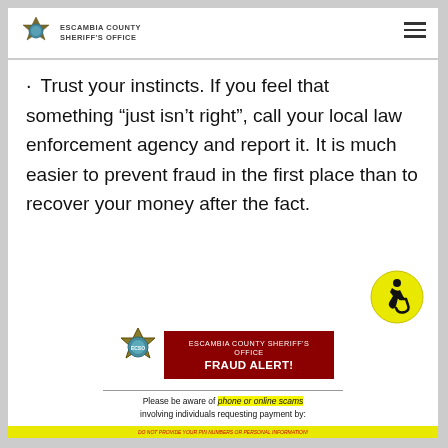ESCAMBIA COUNTY SHERIFF'S OFFICE
Trust your instincts. If you feel that something “just isn’t right”, call your local law enforcement agency and report it. It is much easier to prevent fraud in the first place than to recover your money after the fact.
[Figure (infographic): Escambia County Sheriff's Office Fraud Alert flyer showing badge logo, red box with FRAUD ALERT! text, divider line, and warning about phone or online scams requesting payment by Gift Cards, Green Dot Cards, Prepaid VISA/MasterCard, iTunes Cards, Google Play, Payment Cards, or Money Transfers]
[Figure (logo): Accessibility wheelchair icon in yellow circle]